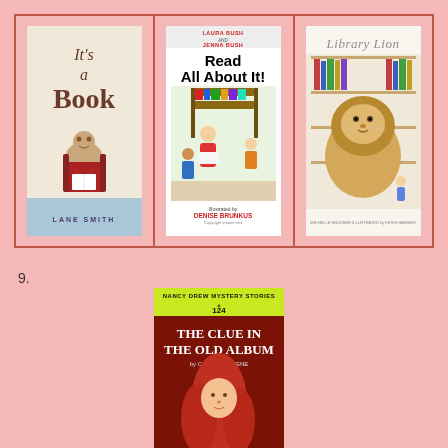[Figure (illustration): Book cover: It's a Book by Lane Smith. Cream/tan background with decorative title text and a small illustration of a monkey sitting in a chair reading. Blue author name band at bottom reading LANE SMITH.]
[Figure (illustration): Book cover: Read All About It! by Laura Bush and Jenna Bush, illustrated by Denise Brunkus. White background with red bold title text, authors listed at top in red, colorful illustration of children and adults reading around a bookshelf.]
[Figure (illustration): Book cover: Library Lion. Cream/tan background with italic title in gray, detailed watercolor illustration of a large lion inside a library with small children nearby.]
9.
[Figure (illustration): Book cover: Nancy Drew Mystery Stories #124 - The Clue in the Old Album by Carolyn Keene. Yellow-green banner at top with series name and number, dark red background with white bold title text and illustration of a red-haired girl.]